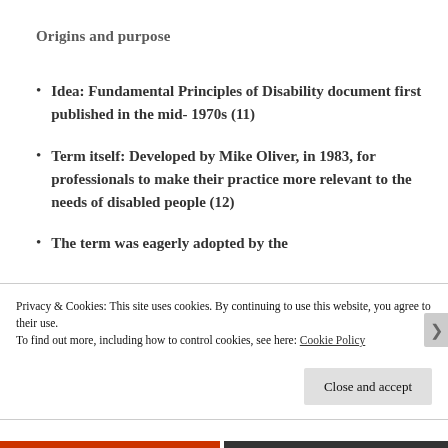Origins and purpose
Idea: Fundamental Principles of Disability document first published in the mid- 1970s (11)
Term itself: Developed by Mike Oliver, in 1983, for professionals to make their practice more relevant to the needs of disabled people (12)
The term was eagerly adopted by the
Privacy & Cookies: This site uses cookies. By continuing to use this website, you agree to their use.
To find out more, including how to control cookies, see here: Cookie Policy
Close and accept